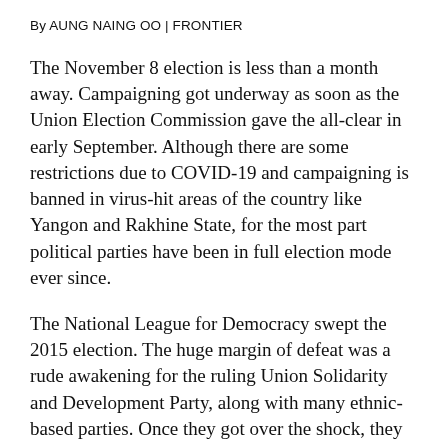By AUNG NAING OO | FRONTIER
The November 8 election is less than a month away. Campaigning got underway as soon as the Union Election Commission gave the all-clear in early September. Although there are some restrictions due to COVID-19 and campaigning is banned in virus-hit areas of the country like Yangon and Rakhine State, for the most part political parties have been in full election mode ever since.
The National League for Democracy swept the 2015 election. The huge margin of defeat was a rude awakening for the ruling Union Solidarity and Development Party, along with many ethnic-based parties. Once they got over the shock, they took